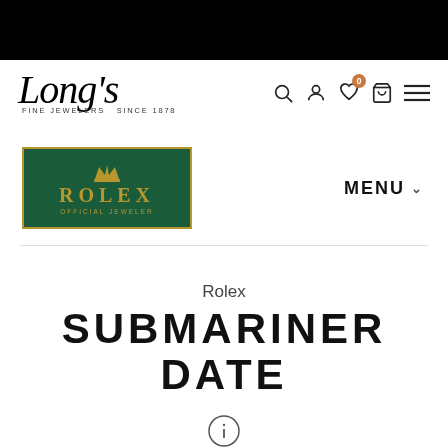[Figure (logo): Long's Fine Jewelers Since 1878 script logo]
[Figure (logo): Rolex Official Jeweler logo on dark green background with gold border]
MENU
Rolex
SUBMARINER DATE